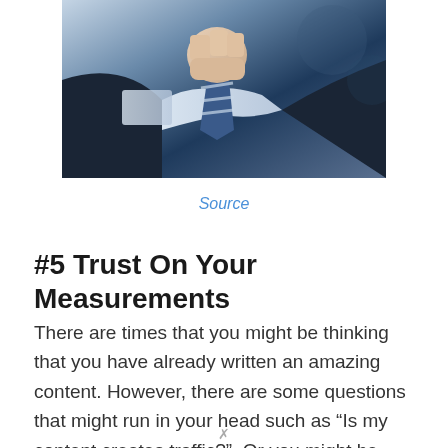[Figure (photo): Close-up photo of a man in a dark suit adjusting his tie, showing his hand and the front of his suit with a striped tie]
Source
#5 Trust On Your Measurements
There are times that you might be thinking that you have already written an amazing content. However, there are some questions that might run in your head such as “Is my content creates traffic?”. Or you might be also asking yourself if you were able to receive some comments from your viewers